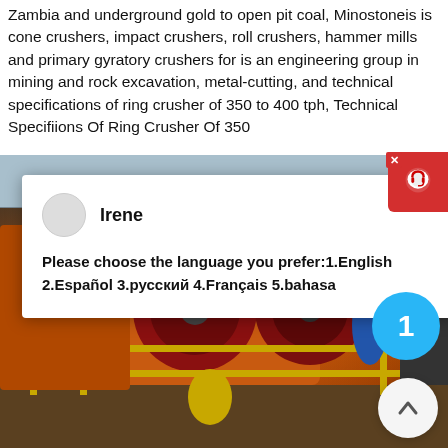Zambia and underground gold to open pit coal, Minostoneis is cone crushers, impact crushers, roll crushers, hammer mills and primary gyratory crushers for is an engineering group in mining and rock excavation, metal-cutting, and technical specifications of ring crusher of 350 to 400 tph, Technical Specifiions Of Ring Crusher Of 350
[Figure (photo): Industrial mining crusher machinery — orange and red heavy equipment with large wheels/rotors, yellow railings, blue components, photographed outdoors at a mining site.]
Irene
Please choose the language you prefer:1.English 2.Español 3.русский 4.Français 5.bahasa